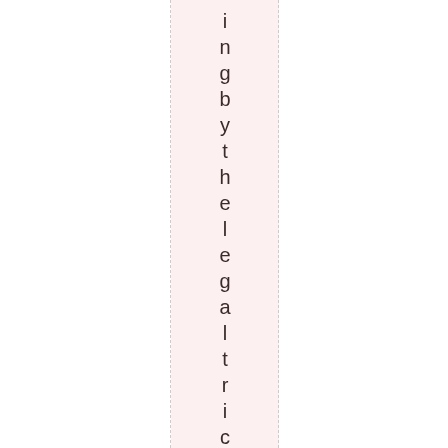ing by the legal tricks, back-